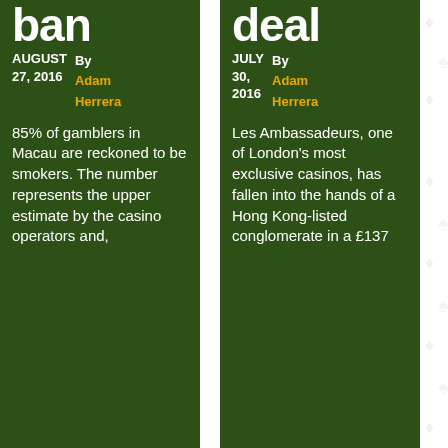ban
AUGUST 27, 2016 By Adam Herrera
85% of gamblers in Macau are reckoned to be smokers. The number represents the upper estimate by the casino operators and,
deal
JULY 30, 2016 By Adam Herrera
Les Ambassadeurs, one of London's most exclusive casinos, has fallen into the hands of a Hong Kong-listed conglomerate in a £137